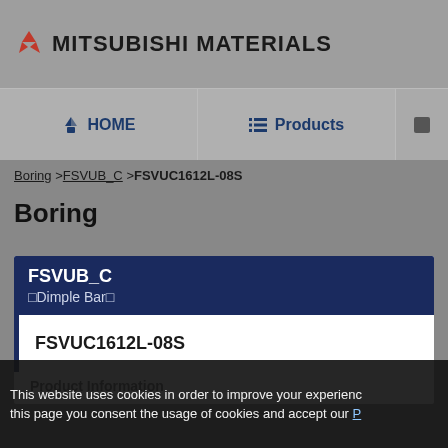MITSUBISHI MATERIALS
HOME | Products
Boring >FSVUB_C >FSVUC1612L-08S
Boring
FSVUB_C – Dimple Bar
FSVUC1612L-08S
Product Information
This website uses cookies in order to improve your experience. By using this page you consent the usage of cookies and accept our P…